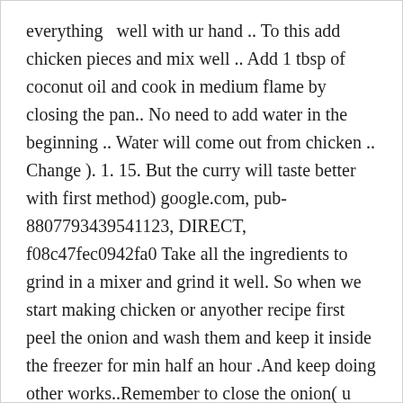everything   well with ur hand .. To this add chicken pieces and mix well .. Add 1 tbsp of coconut oil and cook in medium flame by closing the pan.. No need to add water in the beginning .. Water will come out from chicken .. Change ). 1. 15. But the curry will taste better with first method) google.com, pub-8807793439541123, DIRECT, f08c47fec0942fa0 Take all the ingredients to grind in a mixer and grind it well. So when we start making chicken or anyother recipe first peel the onion and wash them and keep it inside the freezer for min half an hour .And keep doing other works..Remember to close the onion( u can put them in a air tight paper bag or in a vessel with a lid) coz if we keep onion in the freezer with out closing,the smell will be remain in the freezer for long .. If u want u can season it with roasted small onions.. U can adjust the  spice level according to ur